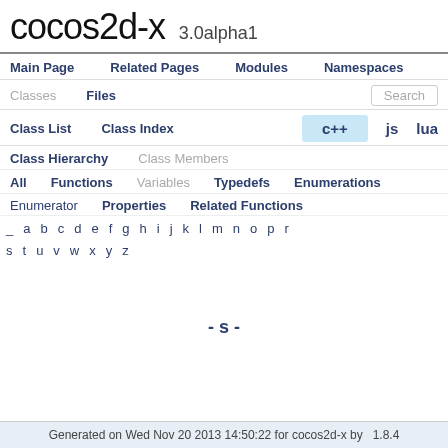cocos2d-x 3.0alpha1
Main Page   Related Pages   Modules   Namespaces
Classes   Files   Search
Class List   Class Index   c++   js   lua
Class Hierarchy   Class Members
All   Functions   Variables   Typedefs   Enumerations
Enumerator   Properties   Related Functions
_ a b c d e f g h i j k l m n o p r
s t u v w x y z
- s -
Generated on Wed Nov 20 2013 14:50:22 for cocos2d-x by  1.8.4